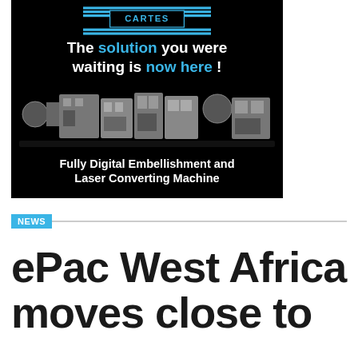[Figure (advertisement): Cartes brand advertisement on black background showing a Fully Digital Embellishment and Laser Converting Machine with text 'The solution you were waiting is now here!']
NEWS
ePac West Africa moves close to